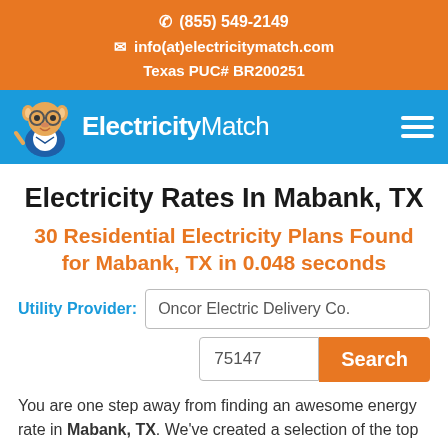✆ (855) 549-2149
✉ info(at)electricitymatch.com
Texas PUC# BR200251
[Figure (logo): ElectricityMatch logo with cartoon hamster mascot and navigation hamburger menu on blue bar]
Electricity Rates In Mabank, TX
30 Residential Electricity Plans Found for Mabank, TX in 0.048 seconds
Utility Provider: Oncor Electric Delivery Co.
75147 Search
You are one step away from finding an awesome energy rate in Mabank, TX. We've created a selection of the top offers from the highest quality list of electricity companies providing service in your area. Easily rank all of the electricity